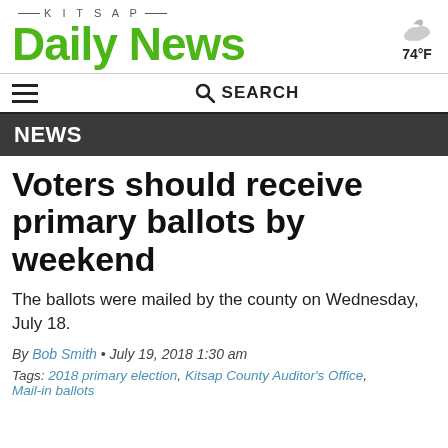Kitsap Daily News — 74°F
SEARCH
NEWS
Voters should receive primary ballots by weekend
The ballots were mailed by the county on Wednesday, July 18.
By Bob Smith • July 19, 2018 1:30 am
Tags: 2018 primary election, Kitsap County Auditor's Office, Mail-in ballots